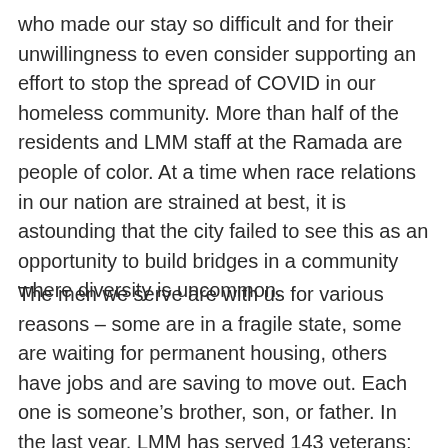who made our stay so difficult and for their unwillingness to even consider supporting an effort to stop the spread of COVID in our homeless community. More than half of the residents and LMM staff at the Ramada are people of color. At a time when race relations in our nation are strained at best, it is astounding that the city failed to see this as an opportunity to build bridges in a community where diversity is uncommon.
The men we serve are with us for various reasons – some are in a fragile state, some are waiting for permanent housing, others have jobs and are saving to move out. Each one is someone's brother, son, or father. In the last year, LMM has served 143 veterans; more than a dozen were